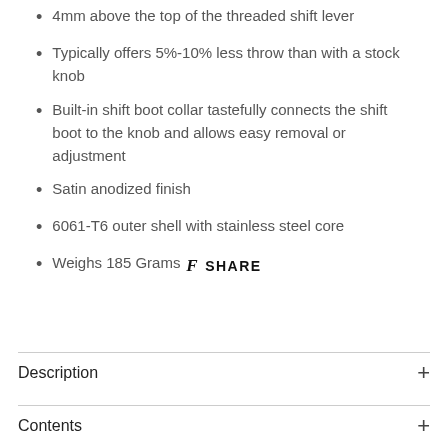4mm above the top of the threaded shift lever
Typically offers 5%-10% less throw than with a stock knob
Built-in shift boot collar tastefully connects the shift boot to the knob and allows easy removal or adjustment
Satin anodized finish
6061-T6 outer shell with stainless steel core
Weighs 185 Grams
f SHARE
Description
Contents